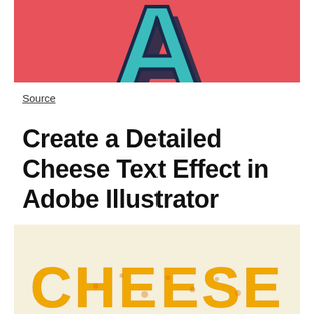[Figure (illustration): Decorative letter A with 3D shadow effect in teal and dark blue on a coral/pink background, partially cropped at top]
Source
Create a Detailed Cheese Text Effect in Adobe Illustrator
[Figure (illustration): The word CHEESE rendered in a detailed cheese texture effect with yellow/orange textured letters on a cream/beige background, partially cropped at bottom]